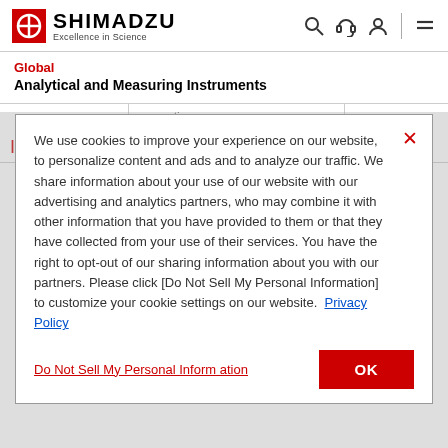SHIMADZU Excellence in Science
Global
Analytical and Measuring Instruments
properties
IIS K
Methods for
We use cookies to improve your experience on our website, to personalize content and ads and to analyze our traffic. We share information about your use of our website with our advertising and analytics partners, who may combine it with other information that you have provided to them or that they have collected from your use of their services. You have the right to opt-out of our sharing information about you with our partners. Please click [Do Not Sell My Personal Information] to customize your cookie settings on our website.  Privacy Policy
Do Not Sell My Personal Information
OK